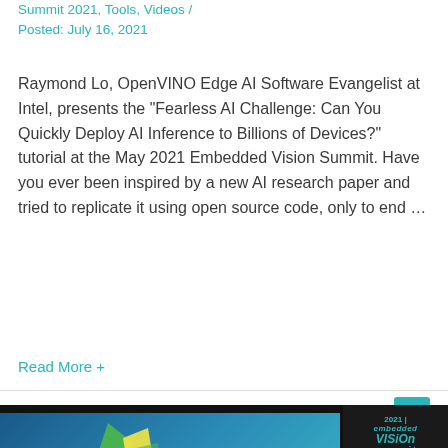Summit 2021, Tools, Videos / Posted: July 16, 2021
Raymond Lo, OpenVINO Edge AI Software Evangelist at Intel, presents the “Fearless AI Challenge: Can You Quickly Deploy AI Inference to Billions of Devices?” tutorial at the May 2021 Embedded Vision Summit. Have you ever been inspired by a new AI research paper and tried to replicate it using open source code, only to end …
Read More +
[Figure (screenshot): Video thumbnail for a presentation titled '3 Lessons Learned in Building a Successful AI Inferencing Toolkit' from the 2021 Embedded Vision Summit, showing the summit logo and a speaker.]